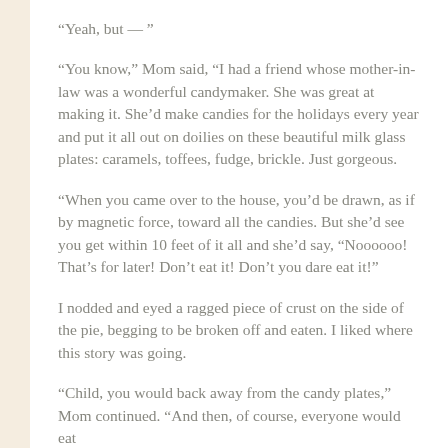“Yeah, but — ”
“You know,” Mom said, “I had a friend whose mother-in-law was a wonderful candymaker. She was great at making it. She’d make candies for the holidays every year and put it all out on doilies on these beautiful milk glass plates: caramels, toffees, fudge, brickle. Just gorgeous.
“When you came over to the house, you’d be drawn, as if by magnetic force, toward all the candies. But she’d see you get within 10 feet of it all and she’d say, “Noooooo! That’s for later! Don’t eat it! Don’t you dare eat it!”
I nodded and eyed a ragged piece of crust on the side of the pie, begging to be broken off and eaten. I liked where this story was going.
“Child, you would back away from the candy plates,” Mom continued. “And then, of course, everyone would eat